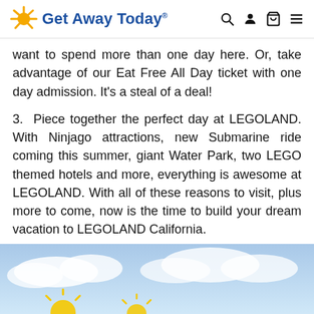Get Away Today
want to spend more than one day here. Or, take advantage of our Eat Free All Day ticket with one day admission. It's a steal of a deal!
3. Piece together the perfect day at LEGOLAND. With Ninjago attractions, new Submarine ride coming this summer, giant Water Park, two LEGO themed hotels and more, everything is awesome at LEGOLAND. With all of these reasons to visit, plus more to come, now is the time to build your dream vacation to LEGOLAND California.
[Figure (photo): Partial view of a blue sky with light clouds and yellow sun graphic, Get Away Today branding image at bottom of page]